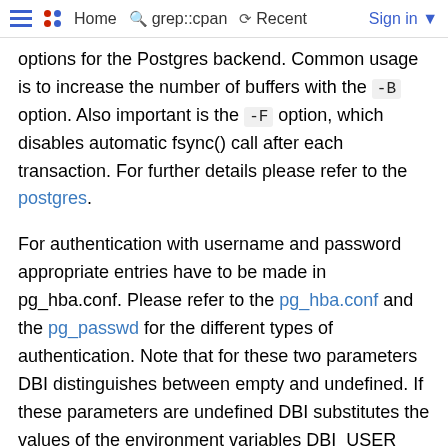Home  grep::cpan  Recent  Sign in
options for the Postgres backend. Common usage is to increase the number of buffers with the -B option. Also important is the -F option, which disables automatic fsync() call after each transaction. For further details please refer to the postgres.
For authentication with username and password appropriate entries have to be made in pg_hba.conf. Please refer to the pg_hba.conf and the pg_passwd for the different types of authentication. Note that for these two parameters DBI distinguishes between empty and undefined. If these parameters are undefined DBI substitutes the values of the environment variables DBI_USER and DBI_PASS if present.
available_drivers